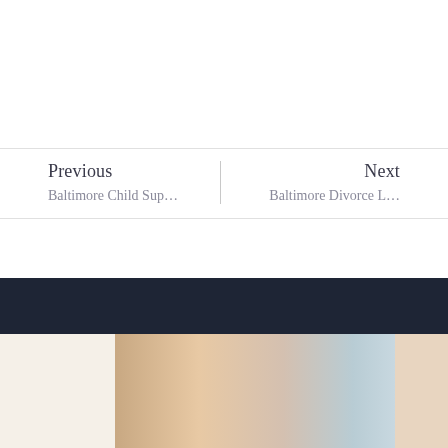Previous
Baltimore Child Sup…
Next
Baltimore Divorce L…
Back To The Blog
[Figure (photo): Partial view of a person with blonde hair, bottom portion of page image strip]